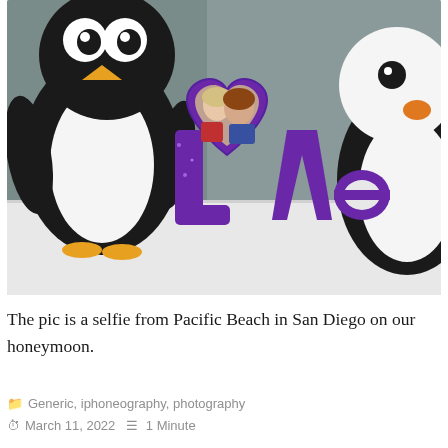[Figure (photo): A photo of a purple heart-shaped 'Love' picture frame with a couple's selfie inside, sitting on a white surface, flanked by two penguin figurines. The couple appears to be a man and a woman. The frame spells out 'Love' with the O replaced by the heart photo frame.]
The pic is a selfie from Pacific Beach in San Diego on our honeymoon.
Generic, iphoneography, photography
March 11, 2022   1 Minute